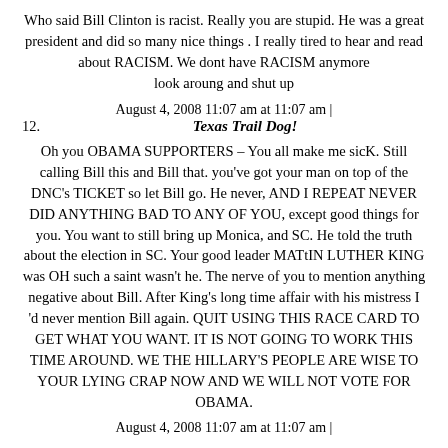Who said Bill Clinton is racist. Really you are stupid. He was a great president and did so many nice things . I really tired to hear and read about RACISM. We dont have RACISM anymore look aroung and shut up
August 4, 2008 11:07 am at 11:07 am |
12. Texas Trail Dog!
Oh you OBAMA SUPPORTERS – You all make me sicK. Still calling Bill this and Bill that. you've got your man on top of the DNC's TICKET so let Bill go. He never, AND I REPEAT NEVER DID ANYTHING BAD TO ANY OF YOU, except good things for you. You want to still bring up Monica, and SC. He told the truth about the election in SC. Your good leader MATtIN LUTHER KING was OH such a saint wasn't he. The nerve of you to mention anything negative about Bill. After King's long time affair with his mistress I 'd never mention Bill again. QUIT USING THIS RACE CARD TO GET WHAT YOU WANT. IT IS NOT GOING TO WORK THIS TIME AROUND. WE THE HILLARY'S PEOPLE ARE WISE TO YOUR LYING CRAP NOW AND WE WILL NOT VOTE FOR OBAMA.
August 4, 2008 11:07 am at 11:07 am |